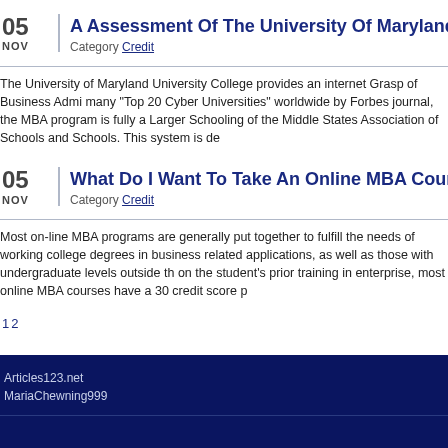A Assessment Of The University Of Maryland On-line M
Category Credit
The University of Maryland University College provides an internet Grasp of Business Admi many “Top 20 Cyber Universities” worldwide by Forbes journal, the MBA program is fully a Larger Schooling of the Middle States Association of Schools and Schools. This system is de
What Do I Want To Take An Online MBA Course?
Category Credit
Most on-line MBA programs are generally put together to fulfill the needs of working college degrees in business related applications, as well as those with undergraduate levels outside th on the student’s prior training in enterprise, most online MBA courses have a 30 credit score p
1 2
Articles123.net
MariaChewning999